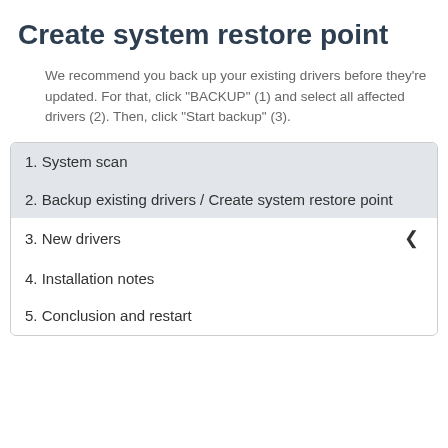Create system restore point
We recommend you back up your existing drivers before they're updated. For that, click "BACKUP" (1) and select all affected drivers (2). Then, click "Start backup" (3).
1. System scan
2. Backup existing drivers / Create system restore point
3. New drivers
4. Installation notes
5. Conclusion and restart